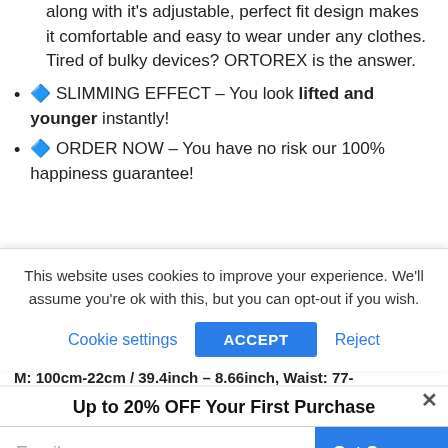along with it's adjustable, perfect fit design makes it comfortable and easy to wear under any clothes. Tired of bulky devices? ORTOREX is the answer.
🔷 SLIMMING EFFECT – You look lifted and younger instantly!
🔷 ORDER NOW – You have no risk our 100% happiness guarantee!
This website uses cookies to improve your experience. We'll assume you're ok with this, but you can opt-out if you wish.
Cookie settings   ACCEPT   Reject
M: 100cm-22cm / 39.4inch – 8.66inch, Waist: 77-
Up to 20% OFF Your First Purchase
Email
Get Coupon
Add to cart